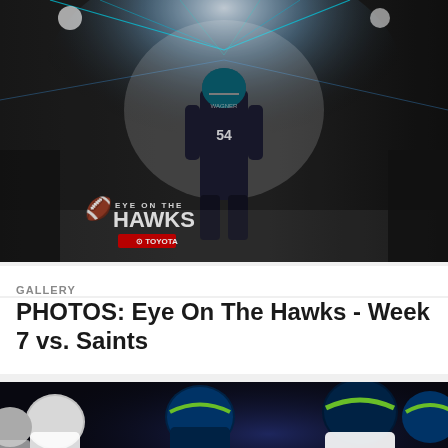[Figure (photo): Seattle Seahawks player #54 Wagner walking through a foggy tunnel with dramatic blue lighting and the 'Eye on the Hawks' Toyota logo overlay]
GALLERY
PHOTOS: Eye On The Hawks - Week 7 vs. Saints
[Figure (photo): Seattle Seahawks players in blue/green uniforms and helmets during a game against the Saints]